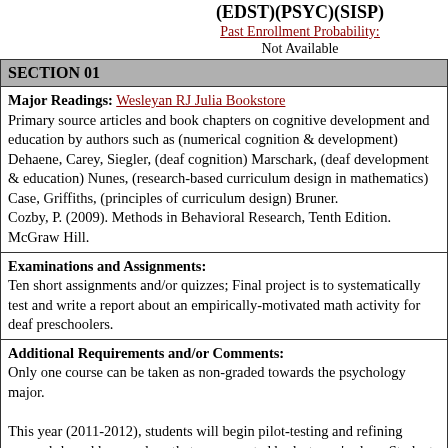(EDST)(PSYC)(SISP)
Past Enrollment Probability:
Not Available
SECTION 01
Major Readings: Wesleyan RJ Julia Bookstore
Primary source articles and book chapters on cognitive development and education by authors such as (numerical cognition & development) Dehaene, Carey, Siegler, (deaf cognition) Marschark, (deaf development & education) Nunes, (research-based curriculum design in mathematics) Case, Griffiths, (principles of curriculum design) Bruner.
Cozby, P. (2009). Methods in Behavioral Research, Tenth Edition. McGraw Hill.
Examinations and Assignments:
Ten short assignments and/or quizzes; Final project is to systematically test and write a report about an empirically-motivated math activity for deaf preschoolers.
Additional Requirements and/or Comments:
Only one course can be taken as non-graded towards the psychology major.

This year (2011-2012), students will begin pilot-testing and refining research-based lesson plans that were created by last year's class. Students will have a chance to try out the activities